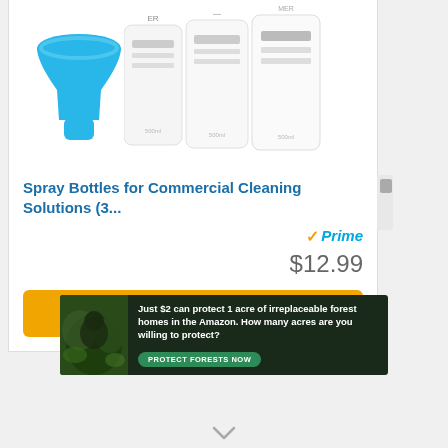[Figure (photo): Product image showing a blue silicone funnel and three white spray bottles for commercial cleaning solutions]
Spray Bottles for Commercial Cleaning Solutions (3...
Prime
$12.99
Buy on Amazon
[Figure (photo): Advertisement banner: Just $2 can protect 1 acre of irreplaceable forest homes in the Amazon. How many acres are you willing to protect? PROTECT FORESTS NOW]